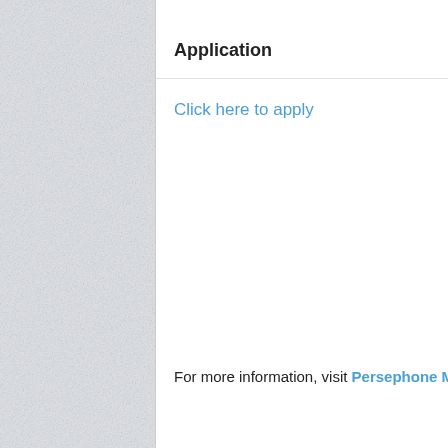Application
Click here to apply
For more information, visit Persephone Miel Fellowship.